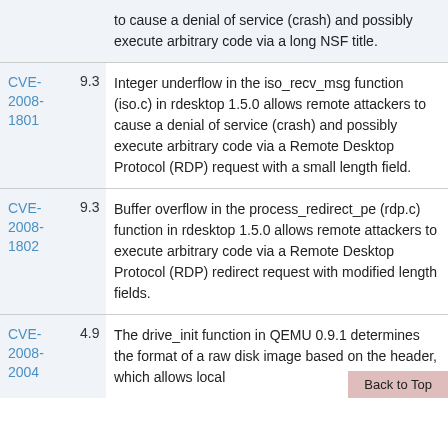| CVE | Score | Description |
| --- | --- | --- |
|  |  | to cause a denial of service (crash) and possibly execute arbitrary code via a long NSF title. |
| CVE-2008-1801 | 9.3 | Integer underflow in the iso_recv_msg function (iso.c) in rdesktop 1.5.0 allows remote attackers to cause a denial of service (crash) and possibly execute arbitrary code via a Remote Desktop Protocol (RDP) request with a small length field. |
| CVE-2008-1802 | 9.3 | Buffer overflow in the process_redirect_pdu (rdp.c) function in rdesktop 1.5.0 allows remote attackers to execute arbitrary code via a Remote Desktop Protocol (RDP) redirect request with modified length fields. |
| CVE-2008-2004 | 4.9 | The drive_init function in QEMU 0.9.1 determines the format of a raw disk image based on the header, which allows local |